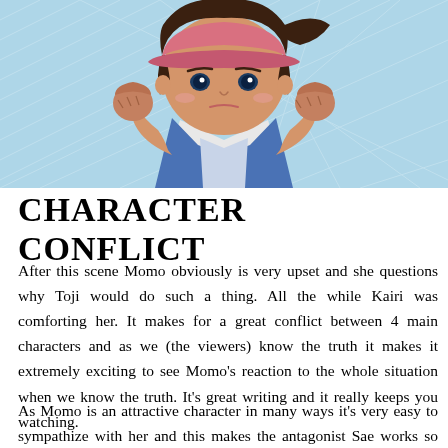[Figure (illustration): Anime illustration of a young girl character wearing a pink/red cap and blue vest over white shirt, shown from shoulders up with fists raised, against a light blue geometric background]
CHARACTER CONFLICT
After this scene Momo obviously is very upset and she questions why Toji would do such a thing. All the while Kairi was comforting her. It makes for a great conflict between 4 main characters and as we (the viewers) know the truth it makes it extremely exciting to see Momo's reaction to the whole situation when we know the truth. It's great writing and it really keeps you watching.
As Momo is an attractive character in many ways it's very easy to sympathize with her and this makes the antagonist Sae works so well. The reason for this is that